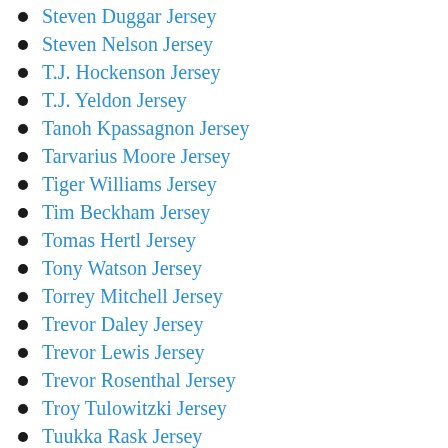Steven Duggar Jersey
Steven Nelson Jersey
T.J. Hockenson Jersey
T.J. Yeldon Jersey
Tanoh Kpassagnon Jersey
Tarvarius Moore Jersey
Tiger Williams Jersey
Tim Beckham Jersey
Tomas Hertl Jersey
Tony Watson Jersey
Torrey Mitchell Jersey
Trevor Daley Jersey
Trevor Lewis Jersey
Trevor Rosenthal Jersey
Troy Tulowitzki Jersey
Tuukka Rask Jersey
Ty Bettis Jersey